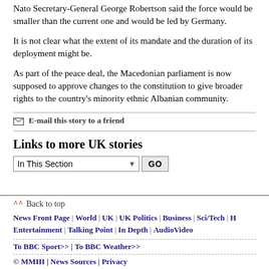Nato Secretary-General George Robertson said the force would be smaller than the current one and would be led by Germany.
It is not clear what the extent of its mandate and the duration of its deployment might be.
As part of the peace deal, the Macedonian parliament is now supposed to approve changes to the constitution to give broader rights to the country's minority ethnic Albanian community.
E-mail this story to a friend
Links to more UK stories
In This Section
^^ Back to top
News Front Page | World | UK | UK Politics | Business | Sci/Tech | H... Entertainment | Talking Point | In Depth | AudioVideo
To BBC Sport>> | To BBC Weather>>
© MMIII | News Sources | Privacy